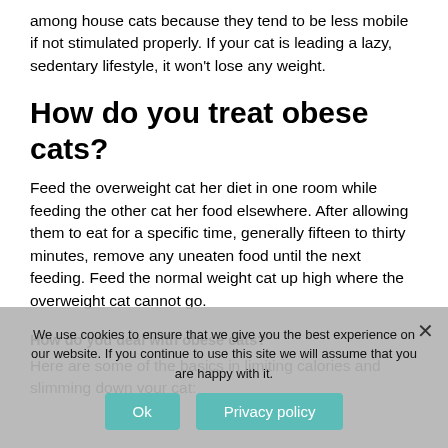among house cats because they tend to be less mobile if not stimulated properly. If your cat is leading a lazy, sedentary lifestyle, it won't lose any weight.
How do you treat obese cats?
Feed the overweight cat her diet in one room while feeding the other cat her food elsewhere. After allowing them to eat for a specific time, generally fifteen to thirty minutes, remove any uneaten food until the next feeding. Feed the normal weight cat up high where the overweight cat cannot go.
How do you deal with obese cats?
Here are some of the basics in limiting calories and slimming down your cat:
We use cookies to ensure that we give you the best experience on our website. If you continue to use this site we will assume that you are happy with it.